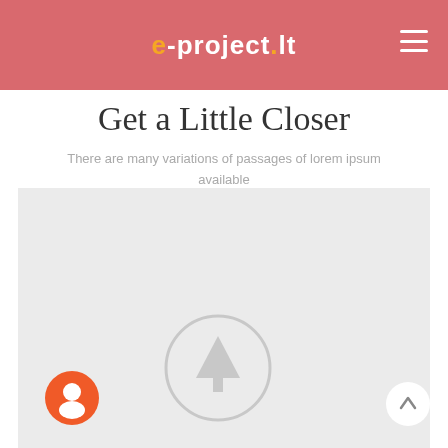e-project.lt
Get a Little Closer
There are many variations of passages of lorem ipsum available
[Figure (map): Placeholder map area with a light grey background and a circular tree/navigation icon in the center. An orange chat button is in the bottom-left and a white scroll-to-top arrow button in the bottom-right.]